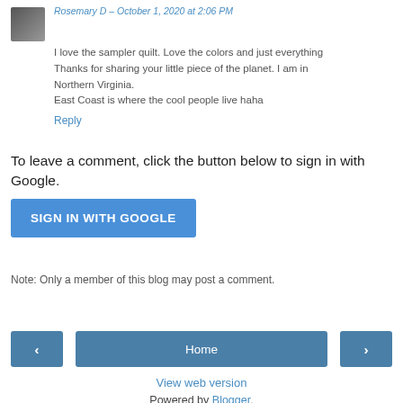I love the sampler quilt. Love the colors and just everything Thanks for sharing your little piece of the planet. I am in Northern Virginia.
East Coast is where the cool people live haha
Reply
To leave a comment, click the button below to sign in with Google.
[Figure (other): SIGN IN WITH GOOGLE button]
Note: Only a member of this blog may post a comment.
[Figure (other): Navigation buttons: left arrow, Home, right arrow]
View web version
Powered by Blogger.